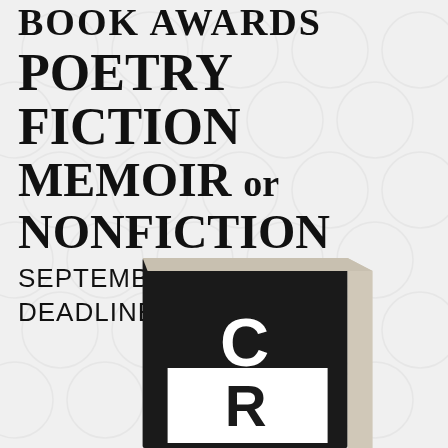BOOK AWARDS
POETRY
FICTION
MEMOIR or NONFICTION
SEPTEMBER 16 DEADLINE
[Figure (photo): A black book-shaped trophy/award with white letters 'C' and 'R' on it, standing upright against a light background. The award has a thick black front panel and a lighter spine visible on the right side.]